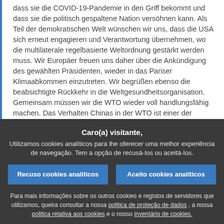dass sie die COVID-19-Pandemie in den Griff bekommt und dass sie die politisch gespaltene Nation versöhnen kann. Als Teil der demokratischen Welt wünschen wir uns, dass die USA sich erneut engagieren und Verantwortung übernehmen, wo die multilaterale regelbasierte Weltordnung gestärkt werden muss. Wir Europäer freuen uns daher über die Ankündigung des gewählten Präsidenten, wieder in das Pariser Klimaabkommen einzutreten. Wir begrüßen ebenso die beabsichtigte Rückkehr in die Weltgesundheitsorganisation. Gemeinsam müssen wir die WTO wieder voll handlungsfähig machen. Das Verhalten Chinas in der WTO ist einer der Gründe für die heutigen Probleme. Wir stehen deshalb nicht äquidistant zwischen den USA und China. Wir wollen gemeinsam mit den USA erreichen, diesem systemischen Rivalen gut abgestimmt zu begegnen.
Caro(a) visitante,
Utilizamos cookies analíticos para lhe oferecer uma melhor experiência de navegação. Tem a opção de recusá-los ou aceitá-los.
Recuso cookies analíticos
Aceito cookies analíticos
Para mais informações sobre os outros cookies e registos de servidores que utilizamos, queira consultar a nossa politica de proteção de dados , a nossa politica relativa aos cookies e o nosso inventário de cookies.